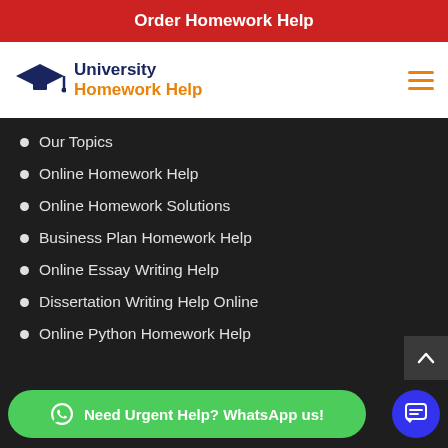Order Homework Help
[Figure (logo): University Homework Help logo with graduation cap icon, 'University' in dark blue and 'Homework Help' in orange]
Our Topics
Online Homework Help
Online Homework Solutions
Business Plan Homework Help
Online Essay Writing Help
Dissertation Writing Help Online
Online Python Homework Help
Need Urgent Help? WhatsApp us!